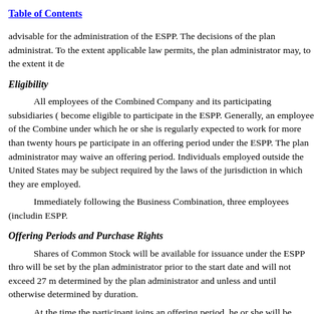Table of Contents
advisable for the administration of the ESPP. The decisions of the plan administrat... To the extent applicable law permits, the plan administrator may, to the extent it de...
Eligibility
All employees of the Combined Company and its participating subsidiaries ( become eligible to participate in the ESPP. Generally, an employee of the Combine... under which he or she is regularly expected to work for more than twenty hours pe... participate in an offering period under the ESPP. The plan administrator may waive an offering period. Individuals employed outside the United States may be subject... required by the laws of the jurisdiction in which they are employed.
Immediately following the Business Combination, three employees (includin... ESPP.
Offering Periods and Purchase Rights
Shares of Common Stock will be available for issuance under the ESPP thro... will be set by the plan administrator prior to the start date and will not exceed 27 m... determined by the plan administrator and unless and until otherwise determined by... duration.
At the time the participant joins an offering period, he or she will be granted... on the last day of the offering period. All payroll deductions collected from the par... the purchase of Common Stock at the end of that offering period, subject to certain...